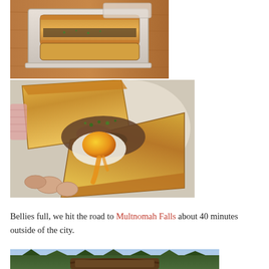[Figure (photo): Close-up photo of a toasted sandwich in a white container on a wooden tray, viewed from above at an angle]
[Figure (photo): Close-up photo of a toasted sandwich held in hands, opened to reveal a runny egg yolk and meat filling with herbs on toasted bread]
Bellies full, we hit the road to Multnomah Falls about 40 minutes outside of the city.
[Figure (photo): Partial view of a park entrance sign with greenery in the background]